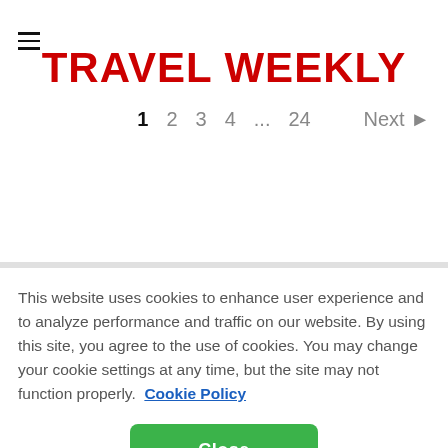TRAVEL WEEKLY
1  2  3  4  ...  24    Next ▶
This website uses cookies to enhance user experience and to analyze performance and traffic on our website. By using this site, you agree to the use of cookies. You may change your cookie settings at any time, but the site may not function properly.  Cookie Policy
Close